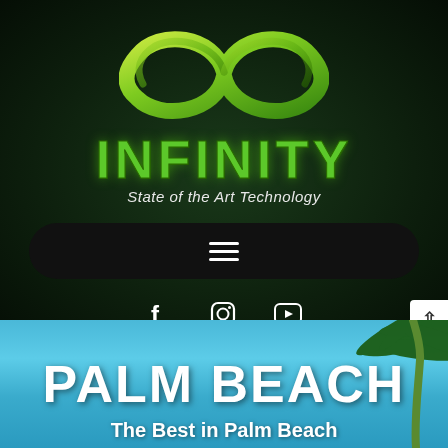[Figure (logo): Infinity green infinity symbol logo with text 'INFINITY' and subtitle 'State of the Art Technology']
[Figure (screenshot): Dark hamburger navigation menu bar with three horizontal lines]
[Figure (infographic): Social media icons row: Facebook (f), Instagram, YouTube]
PALM BEACH
The Best in Palm Beach